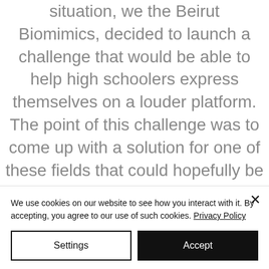situation, we the Beirut Biomimics, decided to launch a challenge that would be able to help high schoolers express themselves on a louder platform. The point of this challenge was to come up with a solution for one of these fields that could hopefully be implemented. We therefore called every Lebanese High schooler (9th to 12th grade) to
We use cookies on our website to see how you interact with it. By accepting, you agree to our use of such cookies. Privacy Policy
Settings
Accept